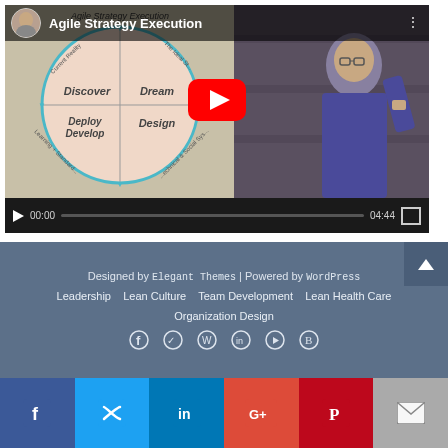[Figure (screenshot): YouTube video player showing 'Agile Strategy Execution' video. Left side shows a circular diagram with four quadrants: Discover, Dream, Deploy/Develop, Design. Right side shows a presenter in a blue shirt. Controls show 00:00 current time and 04:44 total duration.]
Designed by Elegant Themes | Powered by WordPress
Leadership  Lean Culture  Team Development  Lean Health Care  Organization Design